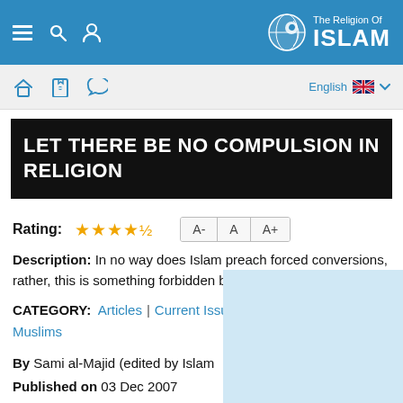[Figure (screenshot): Top navigation bar with hamburger menu, search icon, user icon on left, and 'The Religion Of ISLAM' logo with globe icon on right, on blue background]
[Figure (screenshot): Secondary navigation bar with home, facebook, twitter icons and English language selector with UK flag]
LET THERE BE NO COMPULSION IN RELIGION
Rating: ★★★★½  A-  A  A+
Description: In no way does Islam preach forced conversions, rather, this is something forbidden by clear texts.
CATEGORY:  Articles | Current Issues | Islam and Non-Muslims
By Sami al-Majid (edited by Islam...
Published on 03 Dec 2007
Last modified on 04 Oct 2009